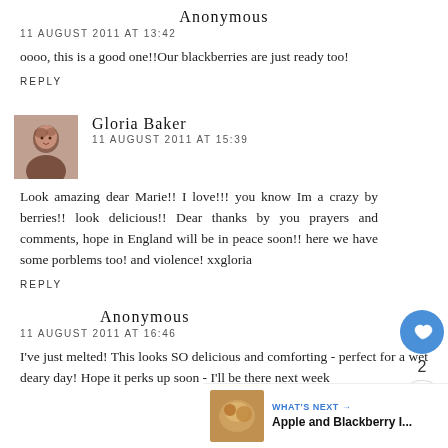Anonymous
11 AUGUST 2011 AT 13:42
oooo, this is a good one!!Our blackberries are just ready too!
REPLY
Gloria Baker
11 AUGUST 2011 AT 15:39
Look amazing dear Marie!! I love!!! you know Im a crazy by berries!! look delicious!! Dear thanks by you prayers and comments, hope in England will be in peace soon!! here we have some porblems too! and violence! xxgloria
REPLY
Anonymous
11 AUGUST 2011 AT 16:46
I've just melted! This looks SO delicious and comforting - perfect for a wet deary day! Hope it perks up soon - I'll be there next week